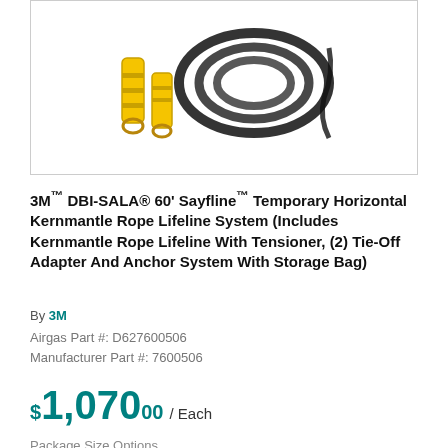[Figure (photo): Product photo showing a yellow and black kernmantle rope lifeline system with yellow straps, D-rings, and black rope coiled together.]
3M™ DBI-SALA® 60' Sayfline™ Temporary Horizontal Kernmantle Rope Lifeline System (Includes Kernmantle Rope Lifeline With Tensioner, (2) Tie-Off Adapter And Anchor System With Storage Bag)
By 3M
Airgas Part #: D627600506
Manufacturer Part #: 7600506
$1,070.00 / Each
Package Size Options